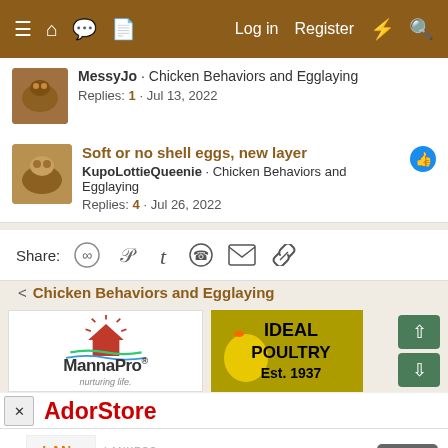Log in  Register
MessyJo · Chicken Behaviors and Egglaying
Replies: 1 · Jul 13, 2022
Soft or no shell eggs, new layer
KupoLottieQueenie · Chicken Behaviors and Egglaying
Replies: 4 · Jul 26, 2022
Share:
< Chicken Behaviors and Egglaying
[Figure (logo): MannaPro nurturing life logo]
[Figure (logo): IDEAL POULTRY Est. 1937 advertisement]
[Figure (logo): AdorStore advertisement]
[Figure (screenshot): LANXESS Your Partner in Innovation bottom ad banner with Open button]